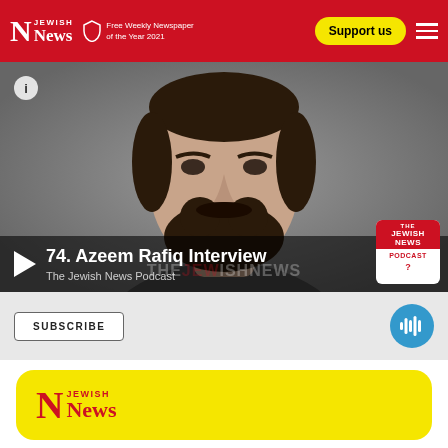Jewish News – Free Weekly Newspaper of the Year 2021 – Support us
[Figure (screenshot): Podcast player card showing episode 74. Azeem Rafiq Interview – The Jewish News Podcast, with portrait photo of a bearded man against grey background, play button overlay, podcast badge logo, subscribe button and audio waveform icon]
[Figure (logo): Jewish News logo on yellow rounded rectangle promotional banner]